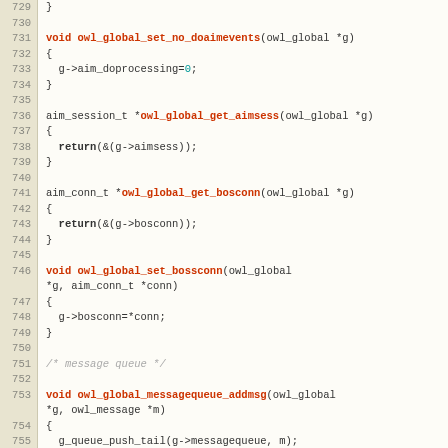[Figure (screenshot): Source code listing in C showing functions owl_global_set_no_doaimevents, owl_global_get_aimsess, owl_global_get_bosconn, owl_global_set_bossconn, owl_global_messagequeue_addmsg, and the beginning of a comment block. Line numbers 729-759 are shown on the left gutter.]